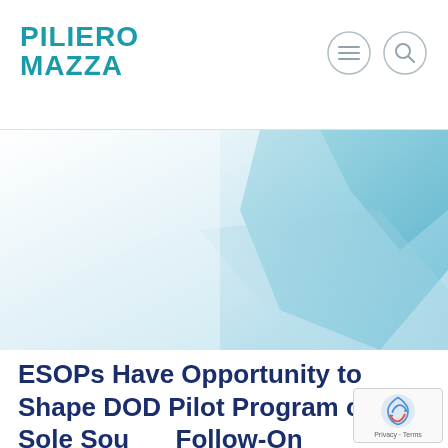[Figure (logo): Piliero Mazza law firm logo in teal/cyan color]
[Figure (illustration): Abstract banner with light blue and teal geometric shapes on white background]
ESOPs Have Opportunity to Shape DOD Pilot Program on Sole Source Follow-On Contracts
[Figure (other): Google reCAPTCHA badge with Privacy and Terms text]